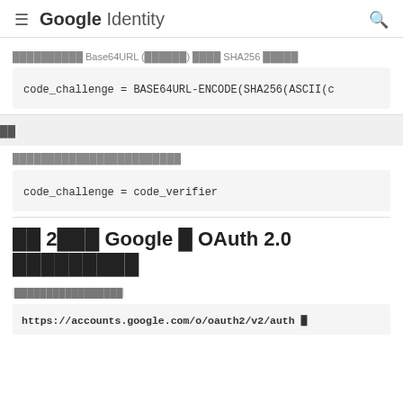Google Identity
xxxxxxxxxx Base64URL (xxxxxx) xxxx SHA256 xxxxx
xx
xxxxxxxxxxxxxxxxxxxxxxxx
xx 2xxx Google x OAuth 2.0 xxxxxxxxx
xxxxxxxxxxxxxxxxx
https://accounts.google.com/o/oauth2/v2/auth x